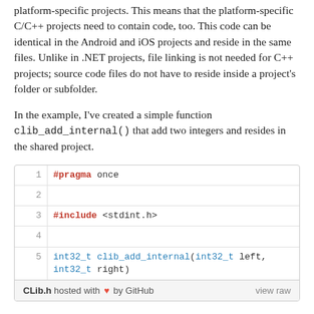platform-specific projects. This means that the platform-specific C/C++ projects need to contain code, too. This code can be identical in the Android and iOS projects and reside in the same files. Unlike in .NET projects, file linking is not needed for C++ projects; source code files do not have to reside inside a project's folder or subfolder.
In the example, I've created a simple function clib_add_internal() that add two integers and resides in the shared project.
[Figure (screenshot): GitHub Gist code snippet showing CLib.h with 5 lines: #pragma once, blank, #include <stdint.h>, blank, int32_t clib_add_internal(int32_t left, int32_t right). Footer shows 'CLib.h hosted with heart by GitHub' and 'view raw'.]